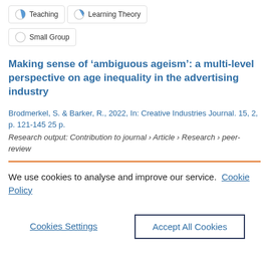Teaching
Learning Theory
Small Group
Making sense of ‘ambiguous ageism’: a multi-level perspective on age inequality in the advertising industry
Brodmerkel, S. & Barker, R., 2022, In: Creative Industries Journal. 15, 2, p. 121-145 25 p.
Research output: Contribution to journal › Article › Research › peer-review
We use cookies to analyse and improve our service. Cookie Policy
Cookies Settings
Accept All Cookies